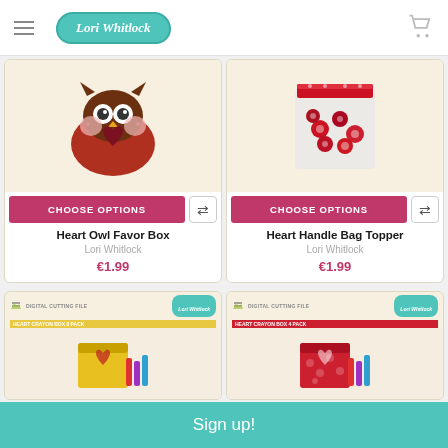Lori Whitlock
[Figure (photo): Heart Owl Favor Box product image - owl-shaped gift box with heart decoration]
[Figure (photo): Heart Handle Bag Topper product image - plastic bag with red candies]
CHOOSE OPTIONS
CHOOSE OPTIONS
Heart Owl Favor Box
Lori Whitlock
€1.99
Heart Handle Bag Topper
Lori Whitlock
€1.99
[Figure (photo): Heart Crayon Box 8 Pack - yellow crayon box with crayons]
[Figure (photo): Heart Crayon Box 4 Pack - red crayon box with crayons]
Sign up!